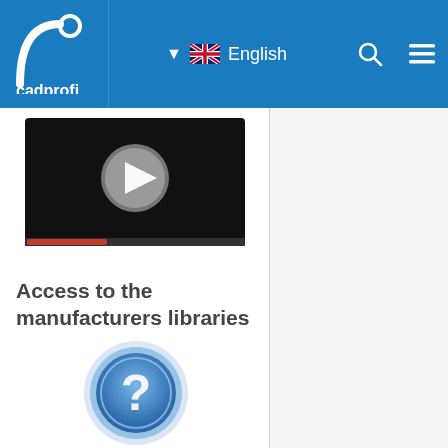cadprofi — English
[Figure (screenshot): Video thumbnail with play button on dark background with progress bar]
Access to the manufacturers libraries
[Figure (illustration): Blue circular question mark icon]
Additional modules for better coordination between branches
[Figure (illustration): Blue circular icon (partially visible at bottom)]